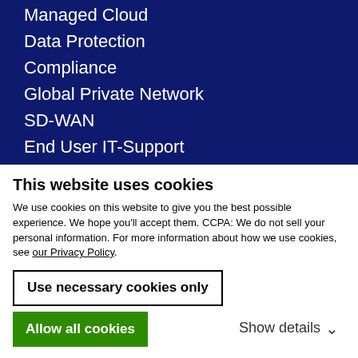Managed Cloud
Data Protection
Compliance
Global Private Network
SD-WAN
End User IT-Support
Cybersecurity Services
Cybersecurity Bundle
Managed SIEM
This website uses cookies
We use cookies on this website to give you the best possible experience. We hope you'll accept them. CCPA: We do not sell your personal information. For more information about how we use cookies, see our Privacy Policy.
Use necessary cookies only
Allow all cookies
Show details